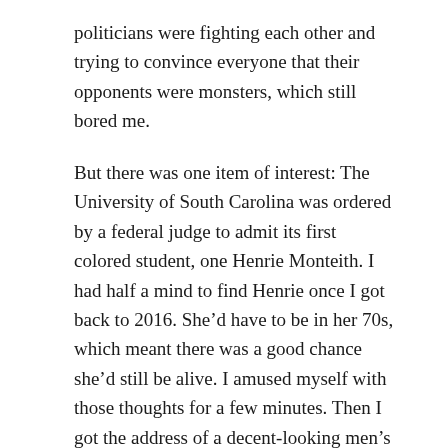politicians were fighting each other and trying to convince everyone that their opponents were monsters, which still bored me.
But there was one item of interest: The University of South Carolina was ordered by a federal judge to admit its first colored student, one Henrie Monteith. I had half a mind to find Henrie once I got back to 2016. She’d have to be in her 70s, which meant there was a good chance she’d still be alive. I amused myself with those thoughts for a few minutes. Then I got the address of a decent-looking men’s store from the ads.
The Minneapolis Tribune, when it finally arrived, was more of the same. I searched it carefully for news about my friend, but there was none. Too soon, I thought, but